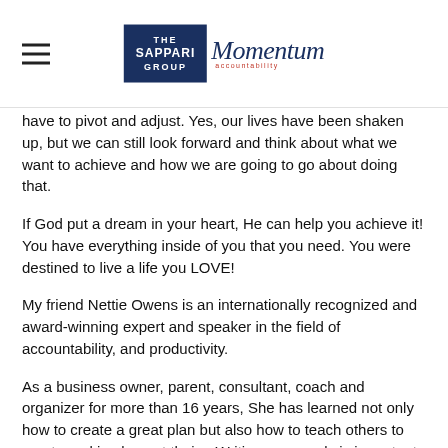THE SAPPARI GROUP | Momentum accountability
have to pivot and adjust. Yes, our lives have been shaken up, but we can still look forward and think about what we want to achieve and how we are going to go about doing that.
If God put a dream in your heart, He can help you achieve it! You have everything inside of you that you need. You were destined to live a life you LOVE!
My friend Nettie Owens is an internationally recognized and award-winning expert and speaker in the field of accountability, and productivity.
As a business owner, parent, consultant, coach and organizer for more than 16 years, She has learned not only how to create a great plan but also how to teach others to create and implement theirs. Writing your goals is important, but it's equally important to learn how to take action on them daily.